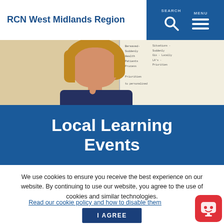RCN West Midlands Region
[Figure (photo): Woman with blonde hair thinking, hand near chin, in front of a whiteboard with writing]
Local Learning Events
We use cookies to ensure you receive the best experience on our website. By continuing to use our website, you agree to the use of cookies and similar technologies.
Read our cookie policy and how to disable them
I AGREE